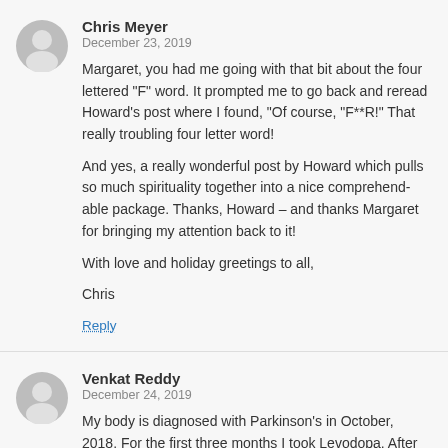Chris Meyer
December 23, 2019
Margaret, you had me going with that bit about the four lettered "F" word. It prompted me to go back and reread Howard's post where I found, "Of course, "F**R!" That really troubling four letter word!

And yes, a really wonderful post by Howard which pulls so much spirituality together into a nice comprehend-able package. Thanks, Howard – and thanks Margaret for bringing my attention back to it!

With love and holiday greetings to all,

Chris
Reply
Venkat Reddy
December 24, 2019
My body is diagnosed with Parkinson's in October, 2018. For the first three months I took Levodopa. After that I moved onto practising the Recipe without taking any medicine. I have been able to manage without medicine for the last two years and my condition has not...